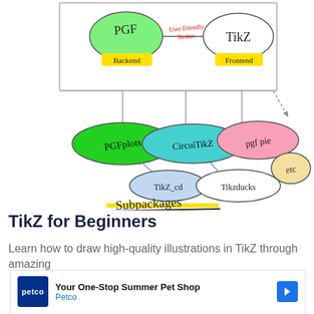[Figure (flowchart): Hand-drawn diagram showing PGF (Backend) connected via 'User Friendly Syntax' arrow to TikZ (Frontend), with subpackages below: PGFplots (green), CircuiTikZ (teal), pgf pie (pink), TikZ_cd (blue), Tikzducks (white), etc (yellow). Label 'Subpackages' written in yellow highlight at bottom.]
TikZ for Beginners
Learn how to draw high-quality illustrations in TikZ through amazing